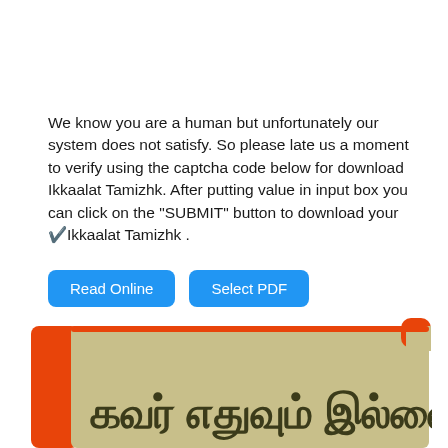We know you are a human but unfortunately our system does not satisfy. So please late us a moment to verify using the captcha code below for download Ikkaalat Tamizhk. After putting value in input box you can click on the "SUBMIT" button to download your ✔️Ikkaalat Tamizhk .
[Figure (screenshot): Two blue rounded-rectangle buttons labeled 'Read Online' and 'Select PDF']
[Figure (illustration): Illustration of a book with an orange spine and cover, beige/tan pages area, with Tamil text 'கவர் எதுவும் இல்லை' meaning 'No cover available']